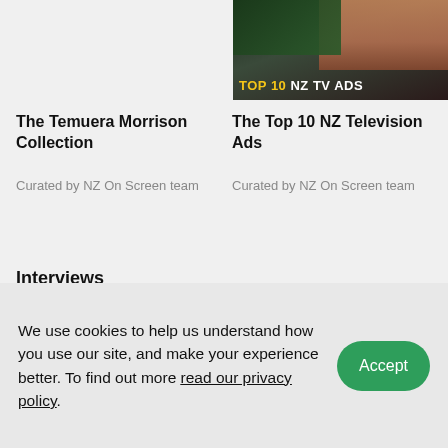[Figure (screenshot): Thumbnail image for Top 10 NZ TV Ads with dark background and text overlay reading TOP 10 NZ TV ADS]
The Temuera Morrison Collection
Curated by NZ On Screen team
The Top 10 NZ Television Ads
Curated by NZ On Screen team
See collections
Interviews
We use cookies to help us understand how you use our site, and make your experience better. To find out more read our privacy policy.
Accept